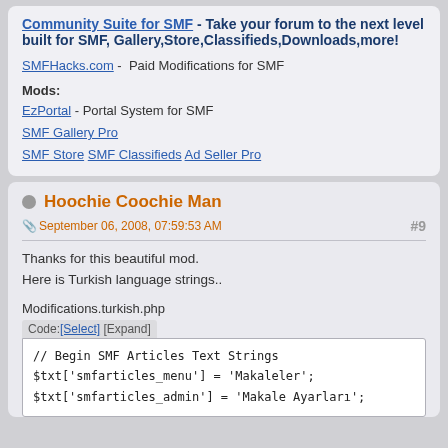Community Suite for SMF - Take your forum to the next level built for SMF, Gallery,Store,Classifieds,Downloads,more!
SMFHacks.com -  Paid Modifications for SMF
Mods:
EzPortal - Portal System for SMF
SMF Gallery Pro
SMF Store  SMF Classifieds  Ad Seller Pro
Hoochie Coochie Man
September 06, 2008, 07:59:53 AM   #9
Thanks for this beautiful mod.
Here is Turkish language strings..
Modifications.turkish.php
Code:[Select] [Expand]
// Begin SMF Articles Text Strings
$txt['smfarticles_menu'] = 'Makaleler';
$txt['smfarticles_admin'] = 'Makale Ayarları';